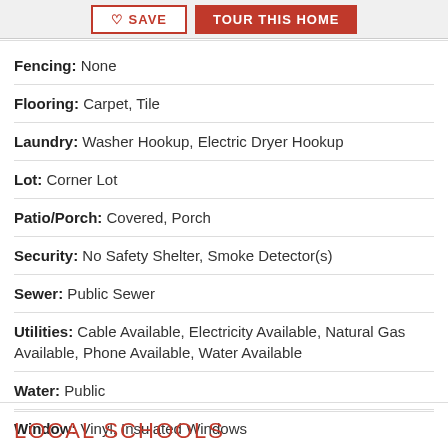SAVE | TOUR THIS HOME
Fencing: None
Flooring: Carpet, Tile
Laundry: Washer Hookup, Electric Dryer Hookup
Lot: Corner Lot
Patio/Porch: Covered, Porch
Security: No Safety Shelter, Smoke Detector(s)
Sewer: Public Sewer
Utilities: Cable Available, Electricity Available, Natural Gas Available, Phone Available, Water Available
Water: Public
Window: Vinyl, Insulated Windows
LOCAL SCHOOLS